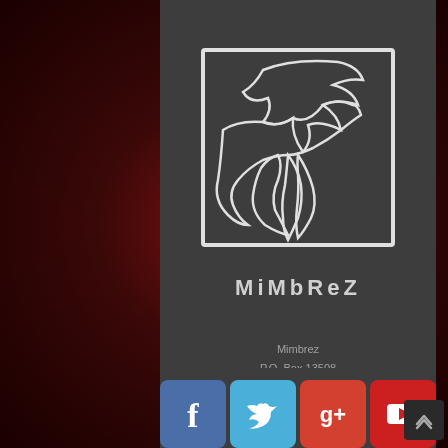[Figure (logo): Mimbrez logo — a square frame with a stylized bird/dove and flame silhouette in white outline on dark gray background, with the text MIMBREZ below the square]
Mimbrez
P.O. Box 13508
Oklahoma City, OK 73113
contactus@mimbrez.com
[Figure (infographic): Four social media icon buttons at the bottom: Facebook (blue), Twitter (light blue), Google+ (red-orange), YouTube (red)]